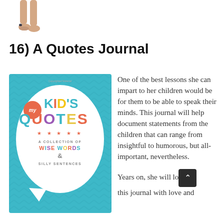[Figure (photo): Partial image of a person's legs/feet at the top of the page, cropped]
16) A Quotes Journal
[Figure (photo): Book cover of 'My Kid's Quotes: A Collection of Wise Words & Silly Sentences' with a teal/blue background, speech bubble, and colorful text]
One of the best lessons she can impart to her children would be for them to be able to speak their minds. This journal will help document statements from the children that can range from insightful to humorous, but all-important, nevertheless.
Years on, she will lo this journal with love and